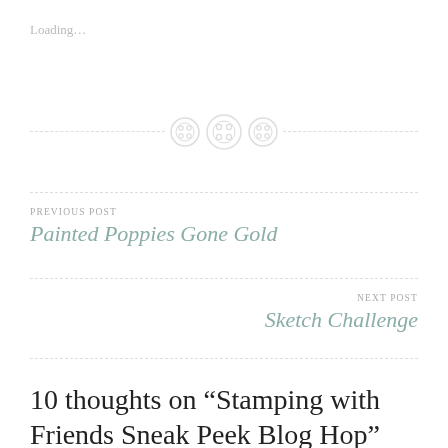Loading…
[Figure (illustration): Three decorative button icons arranged horizontally with dashed lines on either side]
PREVIOUS POST
Painted Poppies Gone Gold
NEXT POST
Sketch Challenge
10 thoughts on “Stamping with Friends Sneak Peek Blog Hop”